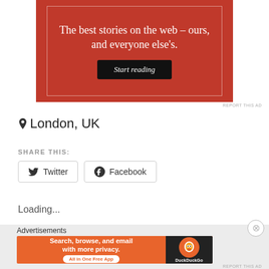[Figure (other): Red advertisement banner with text 'The best stories on the web – ours, and everyone else's.' and a black 'Start reading' button, with a light border inside]
REPORT THIS AD
📍 London, UK
SHARE THIS:
Twitter
Facebook
Loading...
Advertisements
[Figure (other): DuckDuckGo advertisement banner: 'Search, browse, and email with more privacy. All in One Free App' on orange background with DuckDuckGo logo on dark background]
REPORT THIS AD